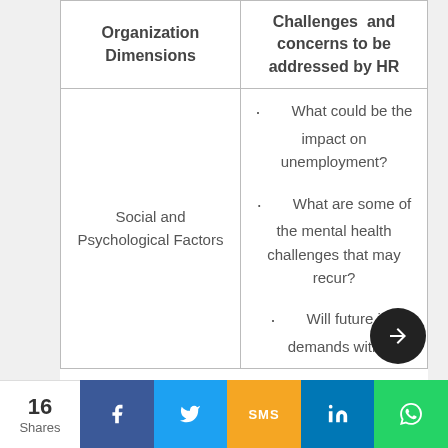| Organization Dimensions | Challenges and concerns to be addressed by HR |
| --- | --- |
| Social and Psychological Factors | · What could be the impact on unemployment?
· What are some of the mental health challenges that may recur?
· Will future job demands with... |
16 Shares | Facebook | Twitter | SMS | LinkedIn | WhatsApp